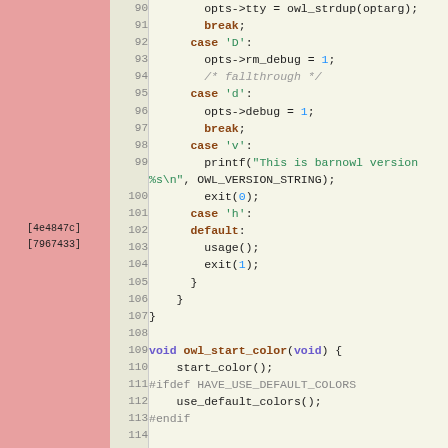[Figure (screenshot): Source code viewer showing C code lines 90-121, with line numbers, syntax highlighting (keywords in bold brown, strings in green, numbers in blue, comments in gray/italic, preprocessor in gray), and a red/pink gutter on the left with git blame labels [4e4847c] and [7967433] near lines 109-110.]